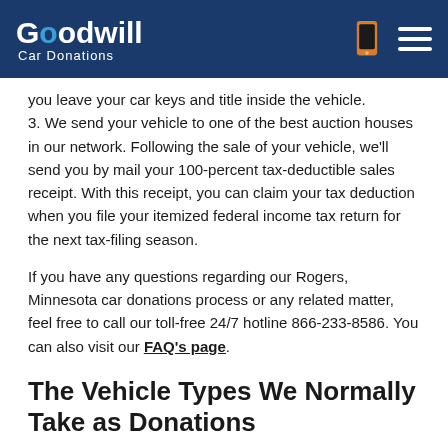Goodwill Car Donations
you leave your car keys and title inside the vehicle.
3. We send your vehicle to one of the best auction houses in our network. Following the sale of your vehicle, we'll send you by mail your 100-percent tax-deductible sales receipt. With this receipt, you can claim your tax deduction when you file your itemized federal income tax return for the next tax-filing season.
If you have any questions regarding our Rogers, Minnesota car donations process or any related matter, feel free to call our toll-free 24/7 hotline 866-233-8586. You can also visit our FAQ's page.
The Vehicle Types We Normally Take as Donations
Unlike other car donation programs, we at Goodwill are willing to accept even vehicles that are not in good running